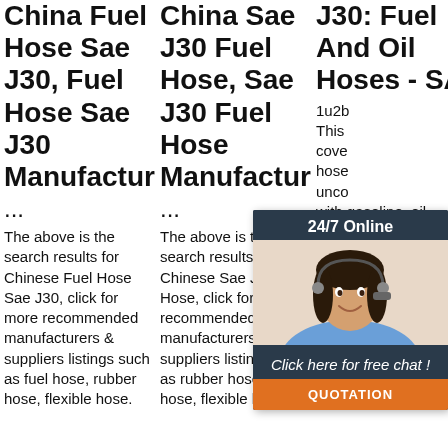China Fuel Hose Sae J30, Fuel Hose Sae J30 Manufacturers ...
China Sae J30 Fuel Hose, Sae J30 Fuel Hose Manufacturers ...
J30: Fuel And Oil Hoses - SA... In...
The above is the search results for Chinese Fuel Hose Sae J30, click for more recommended manufacturers & suppliers listings such as fuel hose, rubber hose, flexible hose.
The above is the search results for Chinese Sae J30 Fuel Hose, click for more recommended manufacturers & suppliers listings such as rubber hose, fuel hose, flexible hose.
1u2b... This... cove... hose... unco... with gasoline, oil, diesel fuel, lubrication oil, or the vapor present in an the fuel system or in the crankcase of internal
[Figure (illustration): Chat widget overlay showing a female customer service agent with headset, a '24/7 Online' header, 'Click here for free chat!' message, and an orange QUOTATION button.]